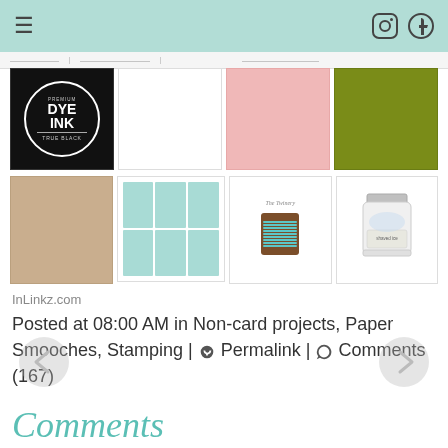Navigation bar with hamburger menu, Instagram and Pinterest icons
[Figure (photo): Product grid row 1: Dye Ink True Black stamp pad, blank white panel, pink cardstock sheet, olive green cardstock sheet]
[Figure (photo): Product grid row 2: tan/kraft cardstock, aqua patterned paper card, The Twinery aqua baker's twine spool, glass jar of shaved ice embellishments]
InLinkz.com
Posted at 08:00 AM in Non-card projects, Paper Smooches, Stamping | 🔗 Permalink | 💬 Comments (167)
Comments